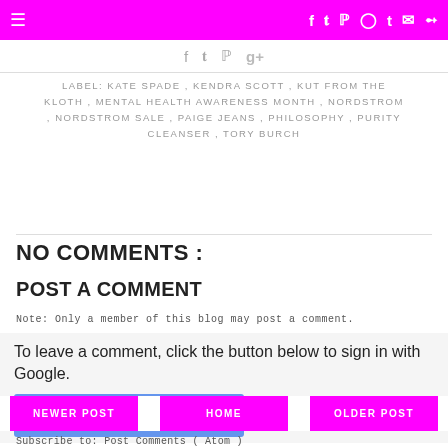≡  f  t  P  g+  instagram  tumblr  mail  rss
[Figure (other): Social share icons bar: Facebook, Twitter, Pinterest, Google+]
LABEL: KATE SPADE , KENDRA SCOTT , KUT FROM THE KLOTH , MENTAL HEALTH AWARENESS MONTH , NORDSTROM , NORDSTROM SALE , PAIGE JEANS , PHILOSOPHY , PURITY CLEANSER , TORY BURCH
NO COMMENTS :
POST A COMMENT
Note: Only a member of this blog may post a comment.
To leave a comment, click the button below to sign in with Google.
SIGN IN WITH GOOGLE
NEWER POST   HOME   OLDER POST
Subscribe to: Post Comments ( Atom )